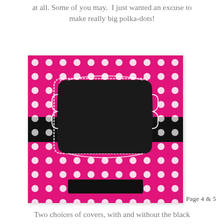at all. Some of you may.  I just wanted an excuse to make really big polka-dots!
[Figure (illustration): A pink and white polka-dot binder cover design featuring a large black chalkboard-style label frame in the center, a black polka-dot band crossing horizontally through the middle, and a small black rectangular label at the bottom center.]
Page 4 & 5
Two choices of covers, with and without the black